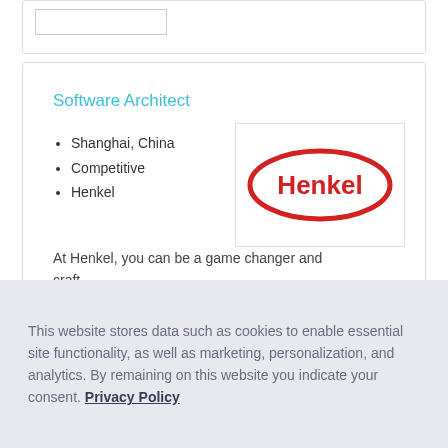Software Architect
Shanghai, China
Competitive
Henkel
At Henkel, you can be a game changer and craft...
[Figure (logo): Henkel logo — red oval outline with 'Henkel' text in red inside]
View details
7 days left
Save
This website stores data such as cookies to enable essential site functionality, as well as marketing, personalization, and analytics. By remaining on this website you indicate your consent. Privacy Policy